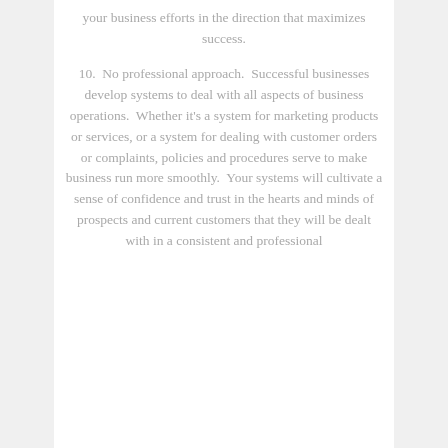your business efforts in the direction that maximizes success.
10.  No professional approach.  Successful businesses develop systems to deal with all aspects of business operations.  Whether it's a system for marketing products or services, or a system for dealing with customer orders or complaints, policies and procedures serve to make business run more smoothly.  Your systems will cultivate a sense of confidence and trust in the hearts and minds of prospects and current customers that they will be dealt with in a consistent and professional